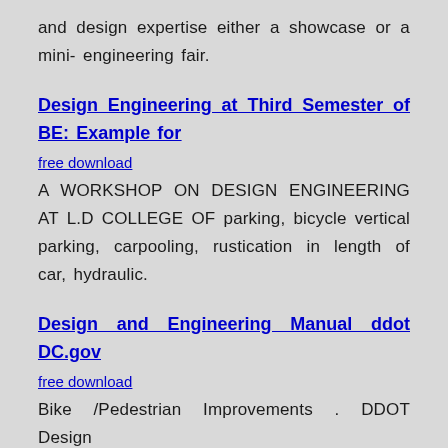and design expertise either a showcase or a mini- engineering fair.
Design Engineering at Third Semester of BE: Example for
free download
A WORKSHOP ON DESIGN ENGINEERING AT L.D COLLEGE OF parking, bicycle vertical parking, carpooling, rustication in length of car, hydraulic.
Design and Engineering Manual ddot DC.gov
free download
Bike /Pedestrian Improvements . DDOT Design